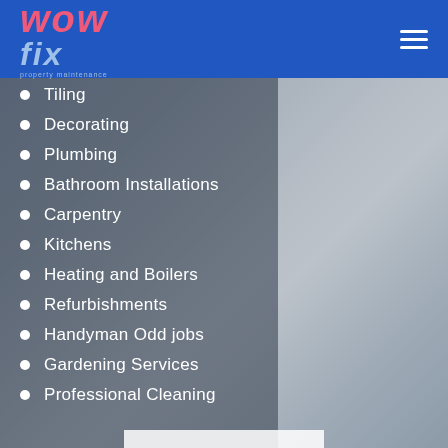[Figure (logo): WowFix property maintenance logo — 'wow' in pink/red italic bold and 'fix' in light blue italic bold, with tagline 'property maintenance']
Tiling
Decorating
Plumbing
Bathroom Installations
Carpentry
Kitchens
Heating and Boilers
Refurbishments
Handyman Odd jobs
Gardening Services
Professional Cleaning
[Figure (photo): Background photo of a modern bright dining room with blue chairs and a wooden table]